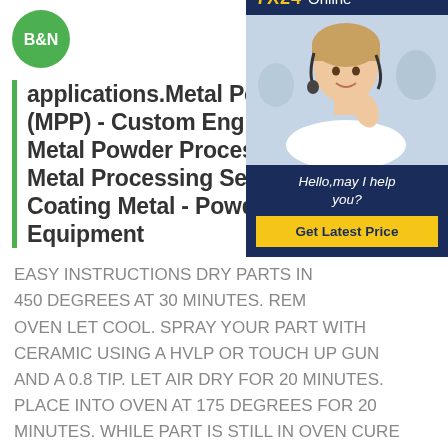[Figure (logo): B&N logo - green circle with white B&N text]
applications.Metal Powder (MPP) - Custom Engineered Metal Powder ProcessingC Metal Processing Services Coating Metal - Powder Co Equipment
[Figure (photo): Customer service representative with headset, chat widget showing 7X24 Online, Hello may I help you?, and Get Latest Price button]
EASY INSTRUCTIONS DRY PARTS IN 450 DEGREES AT 30 MINUTES. REMOVE FROM OVEN LET COOL. SPRAY YOUR PART WITH CERAMIC USING A HVLP OR TOUCH UP GUN AND A 0.8 TIP. LET AIR DRY FOR 20 MINUTES. PLACE INTO OVEN AT 175 DEGREES FOR 20 MINUTES. WHILE PART IS STILL IN OVEN CURE AT 500-700 DEGREES FOR 30 MINUTES.